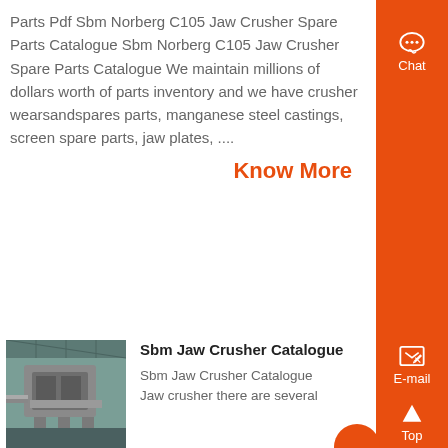Parts Pdf Sbm Norberg C105 Jaw Crusher Spare Parts Catalogue Sbm Norberg C105 Jaw Crusher Spare Parts Catalogue We maintain millions of dollars worth of parts inventory and we have crusher wearsandspares parts, manganese steel castings, screen spare parts, jaw plates, ....
Know More
[Figure (photo): Photograph of a large industrial jaw crusher machine inside a factory/warehouse setting]
Sbm Jaw Crusher Catalogue
Sbm Jaw Crusher Catalogue Jaw crusher there are several